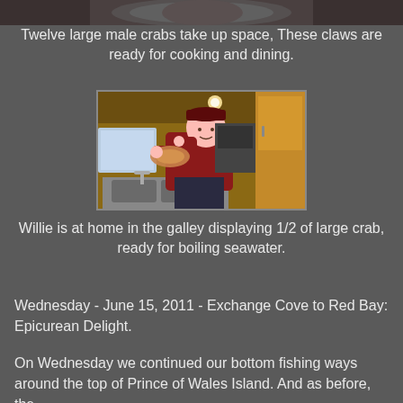[Figure (photo): Partial top of image showing crabs/claws on dark background, cropped at top of page]
Twelve large male crabs take up space,  These claws are ready for cooking and dining.
[Figure (photo): Man named Willie in a boat galley kitchen, wearing a red jacket and dark cap, holding up a large crab half, with wooden cabinetry, sink, and appliances visible]
Willie is at home in the galley displaying 1/2 of large crab, ready for boiling seawater.
Wednesday - June 15, 2011 - Exchange Cove to Red Bay: Epicurean Delight.
On Wednesday we continued our bottom fishing ways around the top of Prince of Wales Island.  And as before, the